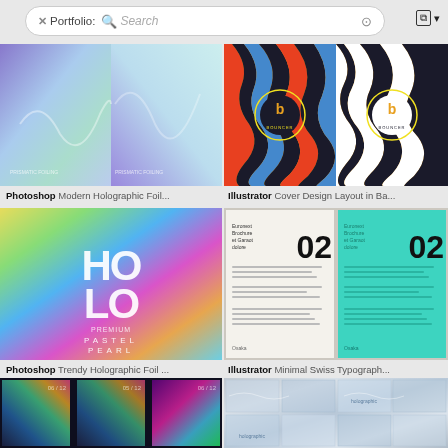[Figure (screenshot): Adobe Stock search interface with Portfolio search bar, search field, camera icon, and view toggle icons]
[Figure (photo): Holographic foil gradient poster design in blue-purple tones]
[Figure (photo): Colorful retro wavy stripe cover design on orange background with circular badge logo]
Photoshop Modern Holographic Foil...
Illustrator Cover Design Layout in Ba...
[Figure (photo): Holographic HOLO PASTEL PEARL gradient poster design]
[Figure (photo): Minimal Swiss Typography layout with number 02 in white and teal panels]
Photoshop Trendy Holographic Foil ...
Illustrator Minimal Swiss Typograph...
[Figure (photo): Three dark holographic wavy abstract posters with neon colors]
[Figure (photo): Holographic silver foil texture grid layout]